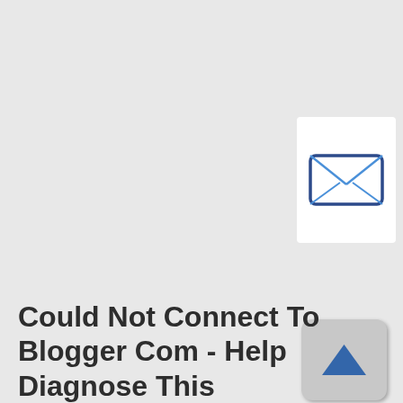[Figure (illustration): Email/envelope icon in blue and dark blue outline, rounded rectangle button style, white background]
[Figure (illustration): Up arrow button icon, grey rounded square with a blue triangle pointing up]
Could Not Connect To Blogger Com - Help Diagnose This